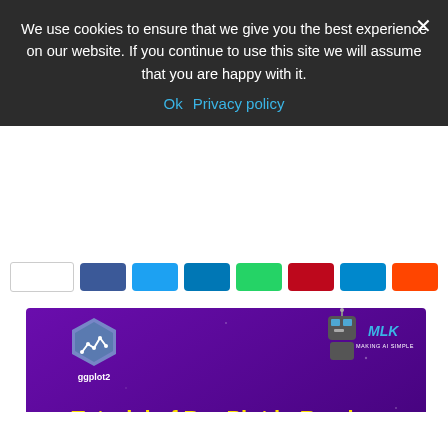We use cookies to ensure that we give you the best experience on our website. If you continue to use this site we will assume that you are happy with it.
Ok  Privacy policy
[Figure (screenshot): Social share buttons bar with Facebook, Twitter, LinkedIn, WhatsApp, Pinterest, Telegram, Reddit buttons]
[Figure (illustration): Tutorial banner image: purple background with ggplot2 hexagon logo top-left, MLK Making AI Simple robot logo top-right, bold yellow text 'Tutorial of Bar Plot in R using ggplot2 with Examples', bar chart graphics at bottom]